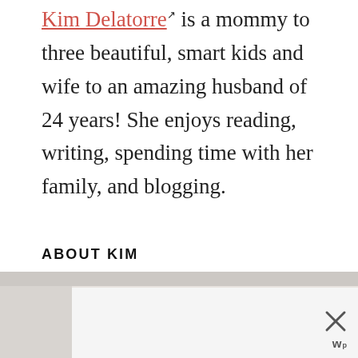Kim Delatorre is a mommy to three beautiful, smart kids and wife to an amazing husband of 24 years! She enjoys reading, writing, spending time with her family, and blogging.
ABOUT KIM
[Figure (other): Advertisement banner with gray/marble background, close button (X), and Wordpres wp logo at bottom right]